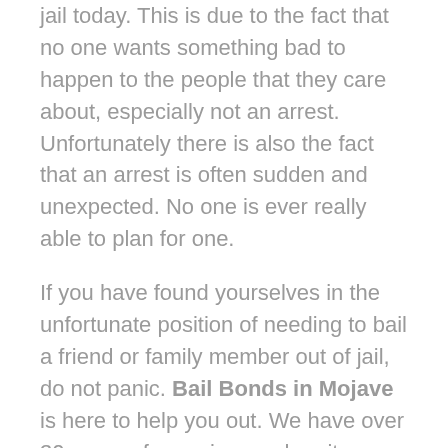jail today. This is due to the fact that no one wants something bad to happen to the people that they care about, especially not an arrest. Unfortunately there is also the fact that an arrest is often sudden and unexpected. No one is ever really able to plan for one.
If you have found yourselves in the unfortunate position of needing to bail a friend or family member out of jail, do not panic. Bail Bonds in Mojave is here to help you out. We have over 30 years of experience when it comes to bailing Californians out of jail. Let us help you rescue your friend or family member from jail. All you need to do is talk to one of our agents.
Once you have spoken to an agent, he or